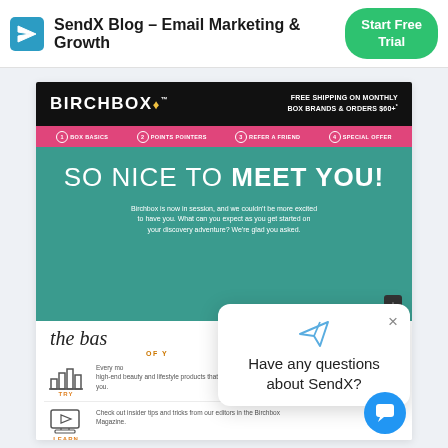SendX Blog - Email Marketing & Growth
[Figure (screenshot): Screenshot of a Birchbox welcome email showing the brand header, pink navigation bar, teal hero section with 'SO NICE TO MEET YOU!' headline, and content section with TRY and LEARN sections. A chat popup overlay reads 'Have any questions about SendX?' with a close button and paper-plane icon. A blue chat bubble button appears bottom-right.]